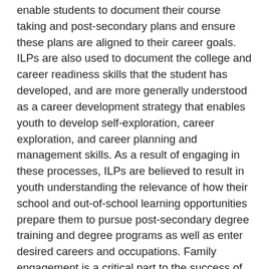enable students to document their course taking and post-secondary plans and ensure these plans are aligned to their career goals. ILPs are also used to document the college and career readiness skills that the student has developed, and are more generally understood as a career development strategy that enables youth to develop self-exploration, career exploration, and career planning and management skills. As a result of engaging in these processes, ILPs are believed to result in youth understanding the relevance of how their school and out-of-school learning opportunities prepare them to pursue post-secondary degree training and degree programs as well as enter desired careers and occupations. Family engagement is a critical part to the success of ILPs.
This brief discusses families' perceptions of whether and how they were engaged in schools' implementation of ILPs, and describes suggestions from families of youth with and